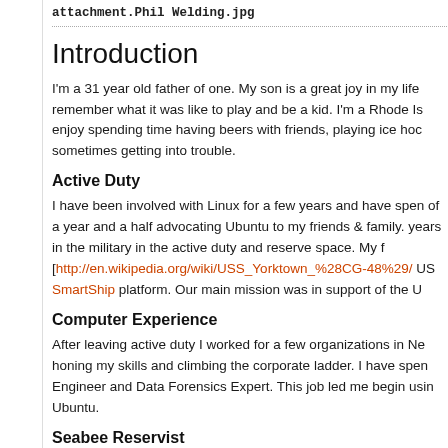attachment.Phil Welding.jpg
Introduction
I'm a 31 year old father of one. My son is a great joy in my life remember what it was like to play and be a kid. I'm a Rhode Is enjoy spending time having beers with friends, playing ice hoc sometimes getting into trouble.
Active Duty
I have been involved with Linux for a few years and have spen of a year and a half advocating Ubuntu to my friends & family. years in the military in the active duty and reserve space. My f [http://en.wikipedia.org/wiki/USS_Yorktown_%28CG-48%29/ US SmartShip platform. Our main mission was in support of the U
Computer Experience
After leaving active duty I worked for a few organizations in Ne honing my skills and climbing the corporate ladder. I have spen Engineer and Data Forensics Expert. This job led me begin usin Ubuntu.
Seabee Reservist